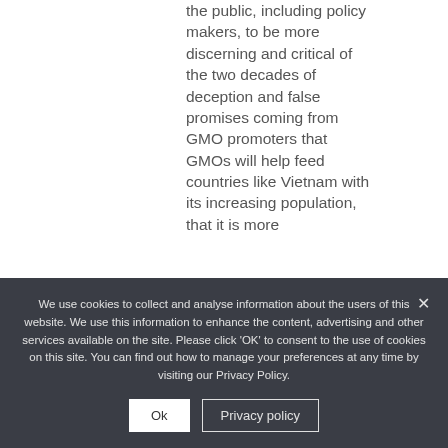the public, including policy makers, to be more discerning and critical of the two decades of deception and false promises coming from GMO promoters that GMOs will help feed countries like Vietnam with its increasing population, that it is more
We use cookies to collect and analyse information about the users of this website. We use this information to enhance the content, advertising and other services available on the site. Please click 'OK' to consent to the use of cookies on this site. You can find out how to manage your preferences at any time by visiting our Privacy Policy.